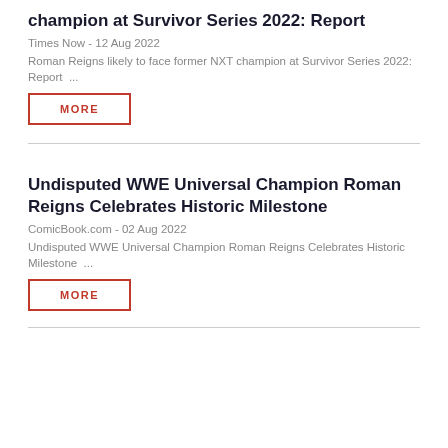champion at Survivor Series 2022: Report
Times Now - 12 Aug 2022
Roman Reigns likely to face former NXT champion at Survivor Series 2022: Report ...
MORE
Undisputed WWE Universal Champion Roman Reigns Celebrates Historic Milestone
ComicBook.com - 02 Aug 2022
Undisputed WWE Universal Champion Roman Reigns Celebrates Historic Milestone ...
MORE